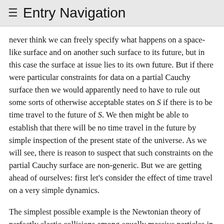≡  Entry Navigation
never think we can freely specify what happens on a space-like surface and on another such surface to its future, but in this case the surface at issue lies to its own future. But if there were particular constraints for data on a partial Cauchy surface then we would apparently need to have to rule out some sorts of otherwise acceptable states on S if there is to be time travel to the future of S. We then might be able to establish that there will be no time travel in the future by simple inspection of the present state of the universe. As we will see, there is reason to suspect that such constraints on the partial Cauchy surface are non-generic. But we are getting ahead of ourselves: first let's consider the effect of time travel on a very simple dynamics.
The simplest possible example is the Newtonian theory of perfectly elastic collisions among equally massive particles in one spatial dimension. The space-time is two-dimensional, so we can represent it initially as the Euclidean plane, and the dynamics is completely specified by a condition. When a particle...